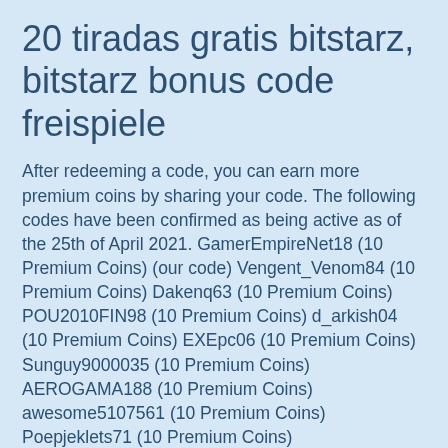20 tiradas gratis bitstarz, bitstarz bonus code freispiele
After redeeming a code, you can earn more premium coins by sharing your code. The following codes have been confirmed as being active as of the 25th of April 2021. GamerEmpireNet18 (10 Premium Coins) (our code) Vengent_Venom84 (10 Premium Coins) Dakenq63 (10 Premium Coins) POU2010FIN98 (10 Premium Coins) d_arkish04 (10 Premium Coins) EXEpc06 (10 Premium Coins) Sunguy9000035 (10 Premium Coins) AEROGAMA188 (10 Premium Coins) awesome5107561 (10 Premium Coins) Poepjeklets71 (10 Premium Coins) alexprodiamon15 (10 Premium Coins) SuperShudhit77 (10 Premium Coins) You can only redeem one code in Bitcoin Miner, which will give you 10 premium coins